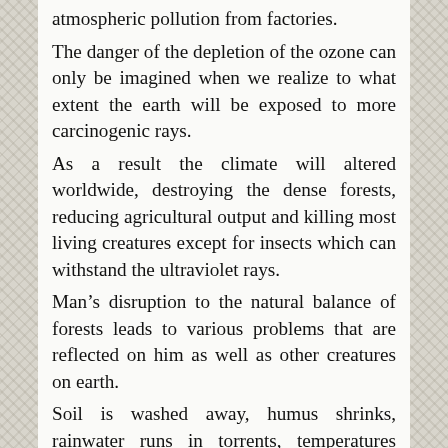atmospheric pollution from factories.
The danger of the depletion of the ozone can only be imagined when we realize to what extent the earth will be exposed to more carcinogenic rays.
As a result the climate will altered worldwide, destroying the dense forests, reducing agricultural output and killing most living creatures except for insects which can withstand the ultraviolet rays.
Man’s disruption to the natural balance of forests leads to various problems that are reflected on him as well as other creatures on earth.
Soil is washed away, humus shrinks, rainwater runs in torrents, temperatures fluctuate, high and severe winds become more common and drought spreads globally.
In addition to toxins expelled into the air and waste pumped into the water by factories, nuclear